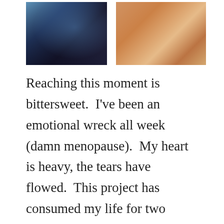[Figure (photo): Left photo: person at an indoor event with blue lighting]
[Figure (photo): Right photo: person sitting outdoors in sandy/beach setting with orange/terracotta tones]
Reaching this moment is bittersweet.  I've been an emotional wreck all week (damn menopause).  My heart is heavy, the tears have flowed.  This project has consumed my life for two years.  Almost every vision I had for the house from my very first walk through with Joe Gorman, Executive Director of Camp Washington Community Board, have come true.  The two areas that are a disappointment, the kitchen floor and spa-like function of the master shower, are correctable.  I should be elated, but this